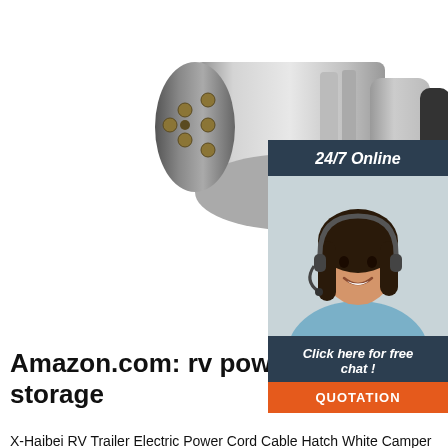[Figure (photo): Photo of silver 7-pin round trailer connector plug (male) and a black 7-pin round socket (female), shown on white background]
[Figure (photo): Advertisement sidebar: dark blue background with '24/7 Online' text, photo of a smiling woman with headset (customer support), 'Click here for free chat!' text, and orange QUOTATION button]
Amazon.com: rv power cord storage
X-Haibei RV Trailer Electric Power Cord Cable Hatch White Camper Hose Storage Door Compartment Lock with 2 Keys W 4-3/4 inch, H 5-7/8 inch. 4.4 out of ... Mophorn 50Ft 50 Amp RV Extension Cord Durable Premium Power Cord RV 26.5mm Wire Diameter Extension Cord